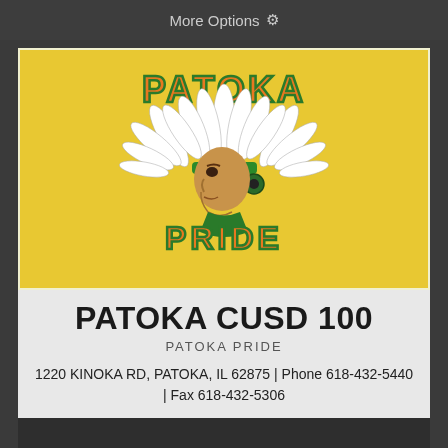More Options ⚙
[Figure (logo): Patoka Pride school logo: yellow/gold background with a Native American chief wearing a headdress in the center, text 'PATOKA' arched above in green outlined orange letters and 'PRIDE' below in green outlined orange letters]
PATOKA CUSD 100
PATOKA PRIDE
1220 KINOKA RD, PATOKA, IL 62875 | Phone 618-432-5440 | Fax 618-432-5306